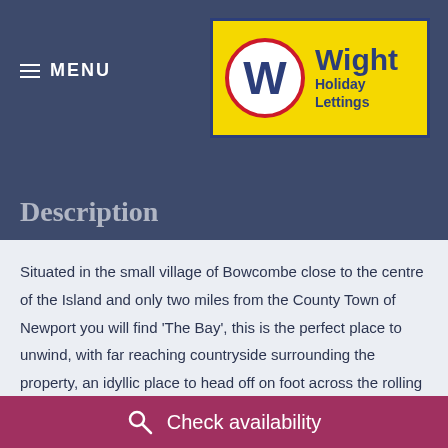MENU
[Figure (logo): Wight Holiday Lettings logo with yellow background, blue W in circle with red border, and Wight Holiday Lettings text]
Description
Situated in the small village of Bowcombe close to the centre of the Island and only two miles from the County Town of Newport you will find ‘The Bay’, this is the perfect place to unwind, with far reaching countryside surrounding the property, an idyllic place to head off on foot across the rolling hills for some fresh air and exercise. In the close by town of Newport are an array of shops, bars and restaurants or head slightly further and there are miles of coastline to explore for those who wish to visit some of the Islands most beautiful beaches
Check availability